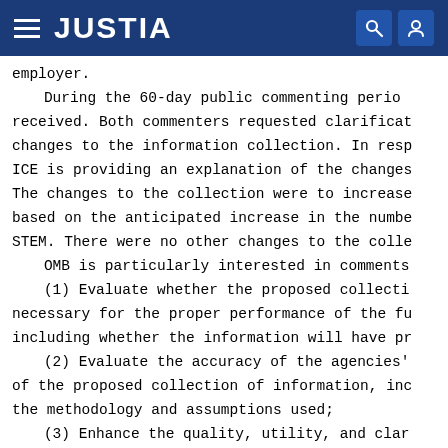JUSTIA
employer.
    During the 60-day public commenting period, received. Both commenters requested clarification changes to the information collection. In response, ICE is providing an explanation of the changes. The changes to the collection were to increase based on the anticipated increase in the number STEM. There were no other changes to the collection.
    OMB is particularly interested in comments:
    (1) Evaluate whether the proposed collection necessary for the proper performance of the functions including whether the information will have practical utility;
    (2) Evaluate the accuracy of the agencies' estimate of the proposed collection of information, including the methodology and assumptions used;
    (3) Enhance the quality, utility, and clarity of the information to be collected; and